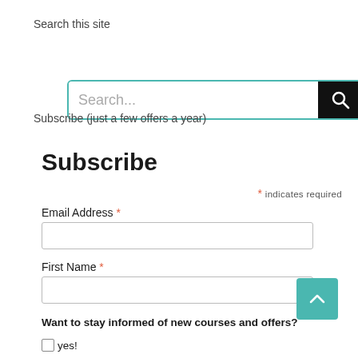Search this site
[Figure (screenshot): Search input box with teal border and black search button with magnifying glass icon, placeholder text 'Search...']
Subscribe (just a few offers a year)
Subscribe
* indicates required
Email Address *
First Name *
Want to stay informed of new courses and offers?
yes!